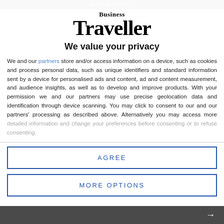Business Traveller
[Figure (logo): Business Traveller magazine logo with serif font]
We value your privacy
We and our partners store and/or access information on a device, such as cookies and process personal data, such as unique identifiers and standard information sent by a device for personalised ads and content, ad and content measurement, and audience insights, as well as to develop and improve products. With your permission we and our partners may use precise geolocation data and identification through device scanning. You may click to consent to our and our partners' processing as described above. Alternatively you may access more detailed information and change your preferences before consenting or to refuse consenting.
AGREE
MORE OPTIONS